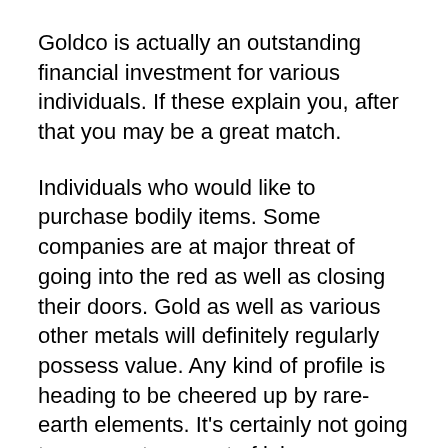Goldco is actually an outstanding financial investment for various individuals. If these explain you, after that you may be a great match.
Individuals who would like to purchase bodily items. Some companies are at major threat of going into the red as well as closing their doors. Gold as well as various other metals will definitely regularly possess value. Any kind of profile is heading to be cheered up by rare-earth elements. It’s certainly not going to carry out any sort of injury.
Those who do not wish to get injured by stock market changes. Complying with the stock market can be very un-nerving. That’s why metals are actually such a great